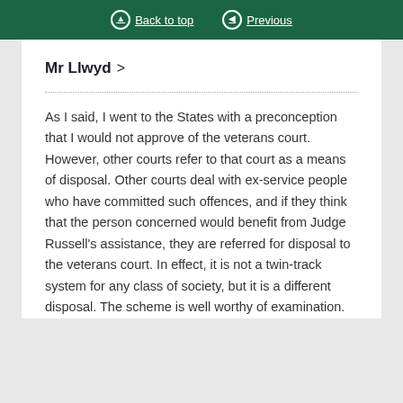Back to top   Previous
Mr Llwyd >
As I said, I went to the States with a preconception that I would not approve of the veterans court. However, other courts refer to that court as a means of disposal. Other courts deal with ex-service people who have committed such offences, and if they think that the person concerned would benefit from Judge Russell's assistance, they are referred for disposal to the veterans court. In effect, it is not a twin-track system for any class of society, but it is a different disposal. The scheme is well worthy of examination.